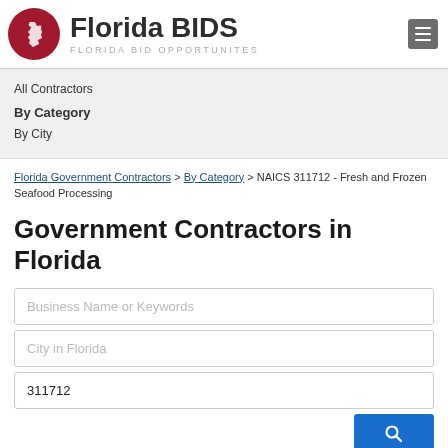[Figure (logo): Florida BIDS logo with red circle containing Florida state outline and text 'Florida BIDS' with subtitle 'FLORIDA BID OPPORTUNITES']
All Contractors
By Category
By City
Florida Government Contractors > By Category > NAICS 311712 - Fresh and Frozen Seafood Processing
Government Contractors in Florida
Business Name or Keywords
City in Florida
311712